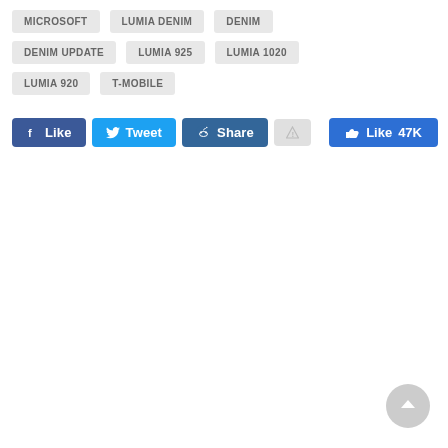MICROSOFT
LUMIA DENIM
DENIM
DENIM UPDATE
LUMIA 925
LUMIA 1020
LUMIA 920
T-MOBILE
[Figure (screenshot): Social sharing buttons: Facebook Like, Twitter Tweet, Reddit Share, warning icon, and a Facebook Like count showing 47K]